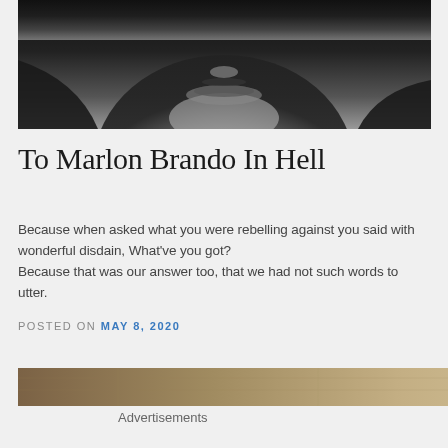[Figure (photo): Black and white close-up photograph of a man's face showing the lower half — chin, lips with a thin mustache, and part of nose. The subject appears to be Marlon Brando.]
To Marlon Brando In Hell
Because when asked what you were rebelling against you said with wonderful disdain, What've you got?
Because that was our answer too, that we had not such words to utter.
POSTED ON MAY 8, 2020
[Figure (photo): Advertisement banner strip showing a brown/tan textured background resembling an old map or parchment. Has a close (X) button overlay.]
Advertisements